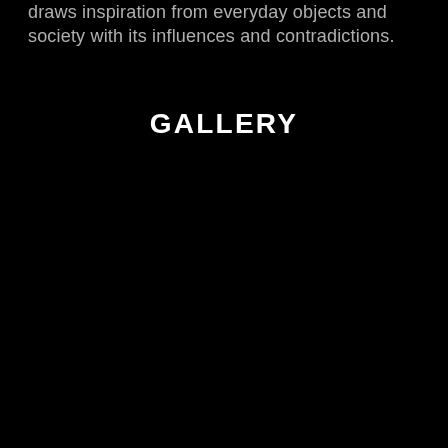draws inspiration from everyday objects and society with its influences and contradictions.
GALLERY